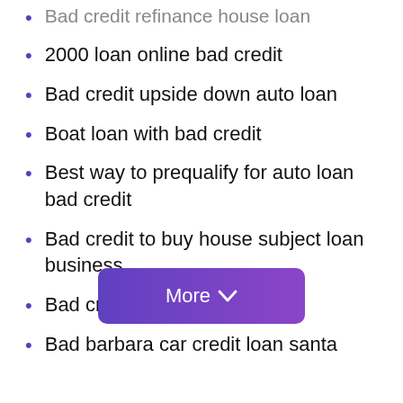Bad credit refinance house loan
2000 loan online bad credit
Bad credit upside down auto loan
Boat loan with bad credit
Best way to prequalify for auto loan bad credit
Bad credit to buy house subject loan business
Bad credit loan no people
Bad barbara car credit loan santa
[Figure (other): A purple gradient 'More' button with a chevron/down arrow icon]